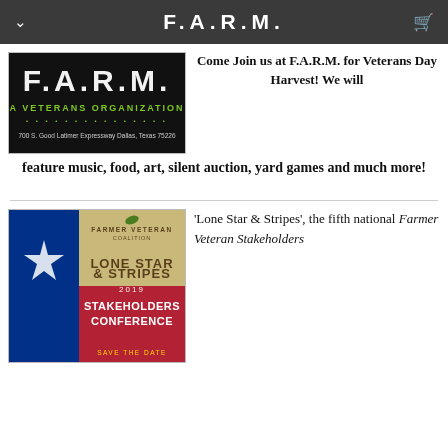F.A.R.M.
[Figure (logo): F.A.R.M. - A Veterans Organization logo with address: 700 S. Good Latimer Expressway Dallas, Texas 75226]
Come Join us at F.A.R.M. for Veterans Day Harvest! We will feature music, food, art, silent auction, yard games and much more!
[Figure (photo): Lone Star & Stripes 2019 Farmer Veteran Coalition Stakeholders Conference event flyer with Texas flag imagery]
'Lone Star & Stripes', the fifth national Farmer Veteran Stakeholders